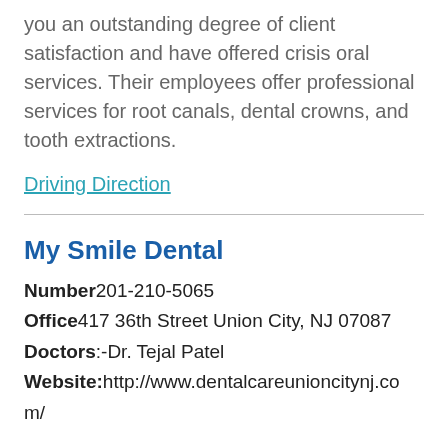you an outstanding degree of client satisfaction and have offered crisis oral services. Their employees offer professional services for root canals, dental crowns, and tooth extractions.
Driving Direction
My Smile Dental
Number201-210-5065
Office417 36th Street Union City, NJ 07087
Doctors:-Dr. Tejal Patel
Website:http://www.dentalcareunioncitynj.com/